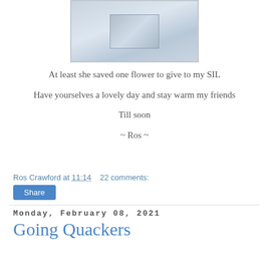[Figure (photo): A framed photo or card with a light blue/grey gradient background, partially visible at the top of the page]
At least she saved one flower to give to my SIL
Have yourselves a lovely day and stay warm my friends
Till soon
~ Ros ~
Ros Crawford at 11:14    22 comments:
Share
Monday, February 08, 2021
Going Quackers